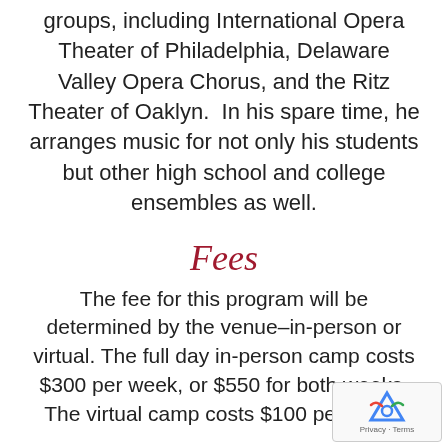groups, including International Opera Theater of Philadelphia, Delaware Valley Opera Chorus, and the Ritz Theater of Oaklyn.  In his spare time, he arranges music for not only his students but other high school and college ensembles as well.
Fees
The fee for this program will be determined by the venue–in-person or virtual. The full day in-person camp costs $300 per week, or $550 for both weeks. The virtual camp costs $100 per week.
Application